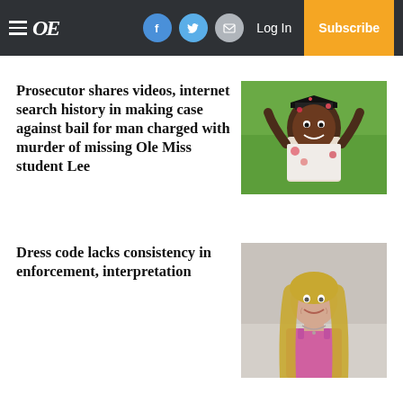OE | Log In | Subscribe
Prosecutor shares videos, internet search history in making case against bail for man charged with murder of missing Ole Miss student Lee
[Figure (photo): A smiling young Black woman in graduation cap and gown, arms raised, outdoors with green foliage background.]
Dress code lacks consistency in enforcement, interpretation
[Figure (photo): A young woman with long blonde hair wearing a pink sleeveless top, standing against a light-colored wall, smiling.]